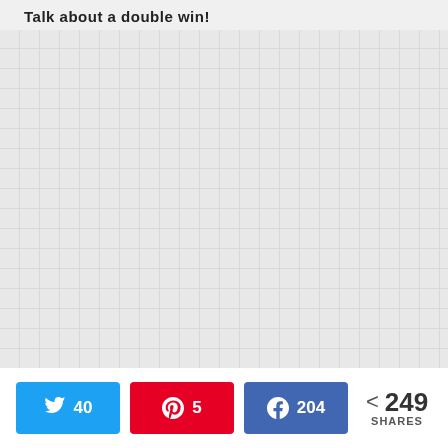Talk about a double win!
[Figure (other): Large empty placeholder image area with grid texture background]
Twitter: 40  Pinterest: 5  Facebook: 204  249 SHARES